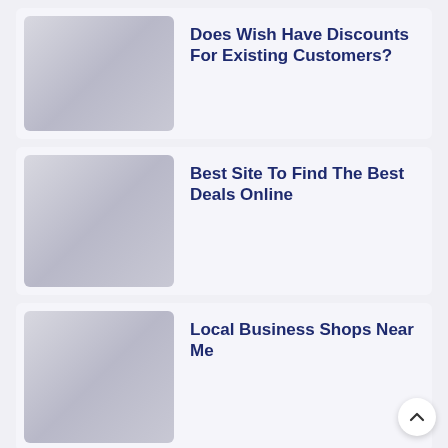Does Wish Have Discounts For Existing Customers?
Best Site To Find The Best Deals Online
Local Business Shops Near Me
How To Create A Financial Plan In Excel